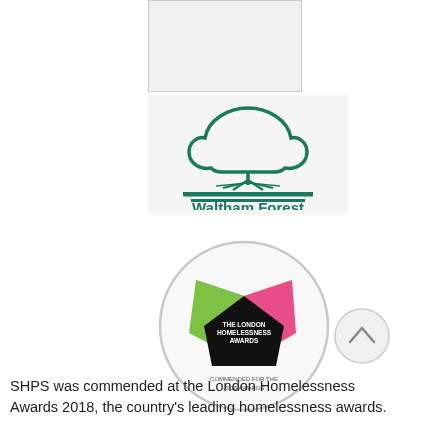[Figure (logo): Empty placeholder box with light grey background and border]
[Figure (logo): Waltham Forest council logo — green tree icon above two horizontal green lines, with 'Waltham Forest' text in green below]
[Figure (logo): The London Homelessness Awards badge — circular grey-bordered badge with colourful arrow shapes and text 'THE LONDON HOMELESSNESS AWARDS' and 'COMMENDED FOR THE 2018 AWARDS']
[Figure (other): Circular up-arrow navigation button]
SHPS was commended at the London Homelessness Awards 2018, the country's leading homelessness awards.